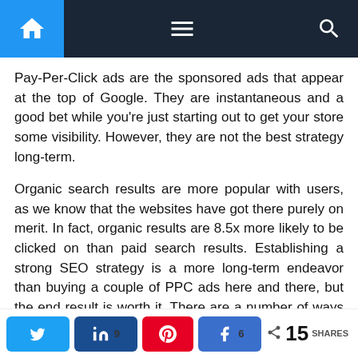Navigation bar with home, menu, and search icons
Pay-Per-Click ads are the sponsored ads that appear at the top of Google. They are instantaneous and a good bet while you're just starting out to get your store some visibility. However, they are not the best strategy long-term.
Organic search results are more popular with users, as we know that the websites have got there purely on merit. In fact, organic results are 8.5x more likely to be clicked on than paid search results. Establishing a strong SEO strategy is a more long-term endeavor than buying a couple of PPC ads here and there, but the end result is worth it. There are a number of ways to improve your SEO profile, from content marketing and guest blogging to optimizing on-site content such as titles, alt tags, and metadata.
Share buttons: Twitter, LinkedIn 9, Pinterest, Facebook 6 | 15 SHARES